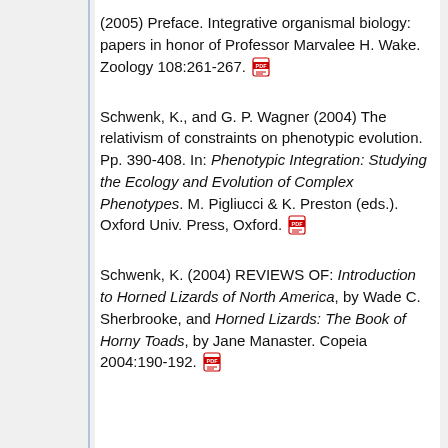(2005) Preface. Integrative organismal biology: papers in honor of Professor Marvalee H. Wake. Zoology 108:261-267. [PDF]
Schwenk, K., and G. P. Wagner (2004) The relativism of constraints on phenotypic evolution. Pp. 390-408. In: Phenotypic Integration: Studying the Ecology and Evolution of Complex Phenotypes. M. Pigliucci & K. Preston (eds.). Oxford Univ. Press, Oxford. [PDF]
Schwenk, K. (2004) REVIEWS OF: Introduction to Horned Lizards of North America, by Wade C. Sherbrooke, and Horned Lizards: The Book of Horny Toads, by Jane Manaster. Copeia 2004:190-192. [PDF]